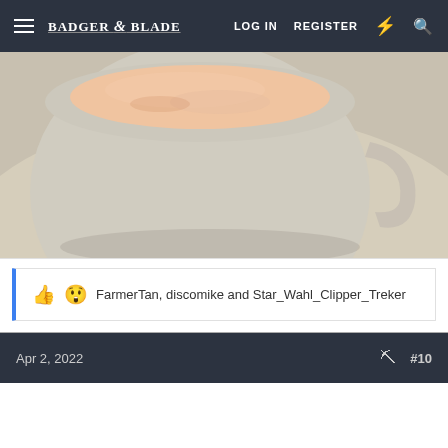Badger & Blade — LOG IN  REGISTER
[Figure (photo): Close-up photo of a shaving soap puck in a white ceramic bowl/mug on a white surface, the soap is a pale peach/salmon color with a matte texture]
👍😲 FarmerTan, discomike and Star_Wahl_Clipper_Treker
Apr 2, 2022  #10